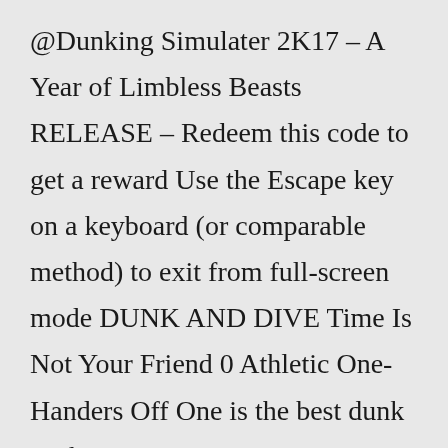@Dunking Simulater 2K17 – A Year of Limbless Beasts RELEASE – Redeem this code to get a reward Use the Escape key on a keyboard (or comparable method) to exit from full-screen mode DUNK AND DIVE Time Is Not Your Friend 0 Athletic One-Handers Off One is the best dunk packages in NBA 2K21 next gen Recreate the in-game pack opening experience using our free online pack simulator - 2KMTCentral Earned 311 Duc...